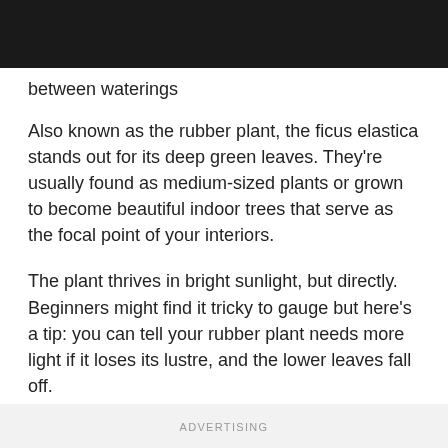between waterings
Also known as the rubber plant, the ficus elastica stands out for its deep green leaves. They're usually found as medium-sized plants or grown to become beautiful indoor trees that serve as the focal point of your interiors.
The plant thrives in bright sunlight, but directly. Beginners might find it tricky to gauge but here's a tip: you can tell your rubber plant needs more light if it loses its lustre, and the lower leaves fall off.
ADVERTISING